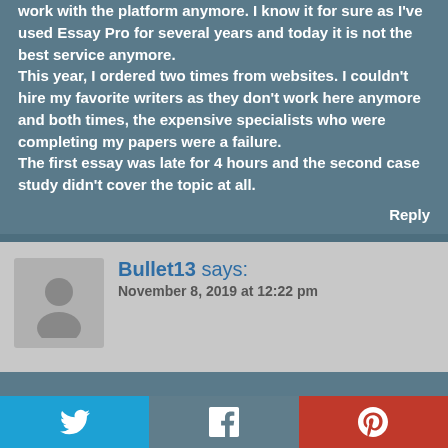work with the platform anymore. I know it for sure as I've used Essay Pro for several years and today it is not the best service anymore.
This year, I ordered two times from websites. I couldn't hire my favorite writers as they don't work here anymore and both times, the expensive specialists who were completing my papers were a failure.
The first essay was late for 4 hours and the second case study didn't cover the topic at all.
Reply
Bullet13 says:
November 8, 2019 at 12:22 pm